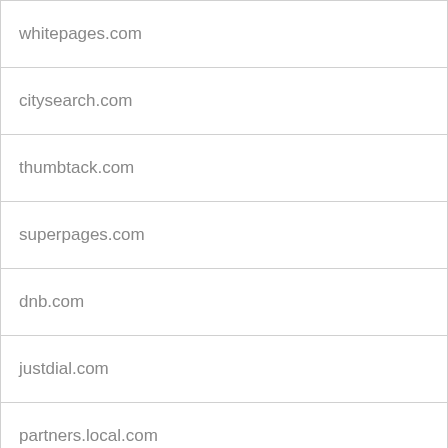| whitepages.com |
| citysearch.com |
| thumbtack.com |
| superpages.com |
| dnb.com |
| justdial.com |
| partners.local.com |
| local.com |
| yext.com |
| corporationwiki.com |